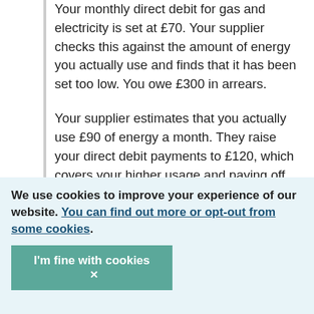Your monthly direct debit for gas and electricity is set at £70. Your supplier checks this against the amount of energy you actually use and finds that it has been set too low. You owe £300 in arrears.
Your supplier estimates that you actually use £90 of energy a month. They raise your direct debit payments to £120, which covers your higher usage and paying off the arrears. When the debt is repaid, your supplier reduces your payments to £90.
We use cookies to improve your experience of our website. You can find out more or opt-out from some cookies.
I'm fine with cookies ×